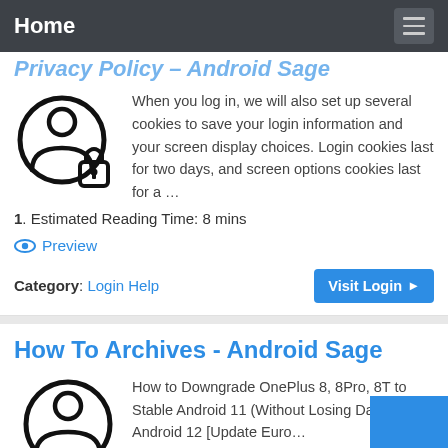Home
Privacy Policy – Android Sage (partially visible, cut off)
When you log in, we will also set up several cookies to save your login information and your screen display choices. Login cookies last for two days, and screen options cookies last for a …
1. Estimated Reading Time: 8 mins
Preview
Category: Login Help
How To Archives - Android Sage
How to Downgrade OnePlus 8, 8Pro, 8T to Stable Android 11 (Without Losing Data) from Android 12 [Update Euro…